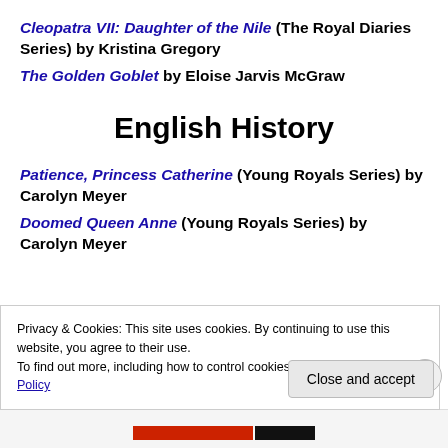Cleopatra VII: Daughter of the Nile (The Royal Diaries Series) by Kristina Gregory
The Golden Goblet by Eloise Jarvis McGraw
English History
Patience, Princess Catherine (Young Royals Series) by Carolyn Meyer
Doomed Queen Anne (Young Royals Series) by Carolyn Meyer
Privacy & Cookies: This site uses cookies. By continuing to use this website, you agree to their use.
To find out more, including how to control cookies, see here: Cookie Policy